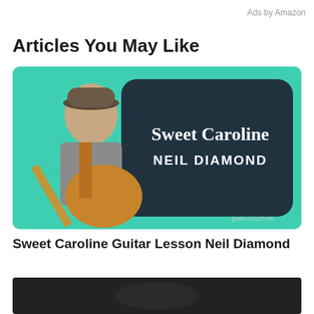Ads by Amazon
Articles You May Like
[Figure (screenshot): Video thumbnail showing a man playing acoustic guitar against a teal/mint green background with a dark rounded rectangle overlay. Text reads 'Sweet Caroline' in large white serif font and 'NEIL DIAMOND' in bold white uppercase font. A JustinGuitar watermark appears in the bottom right corner.]
Sweet Caroline Guitar Lesson Neil Diamond
[Figure (photo): Partially visible dark-toned video thumbnail at the bottom of the page, content unclear.]